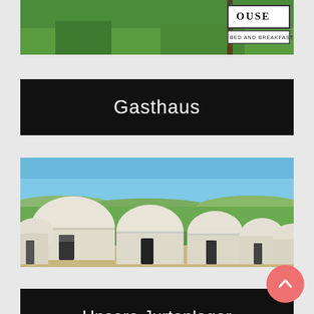[Figure (photo): Partial view of a bed and breakfast sign in a green garden setting]
Gasthaus
[Figure (photo): Row of traditional white yurts on a green field under a clear blue sky]
Unsere Jurtenlager
[Figure (photo): Partial view of a mosque or mausoleum with a turquoise dome and ornate tiled facade against a blue sky]